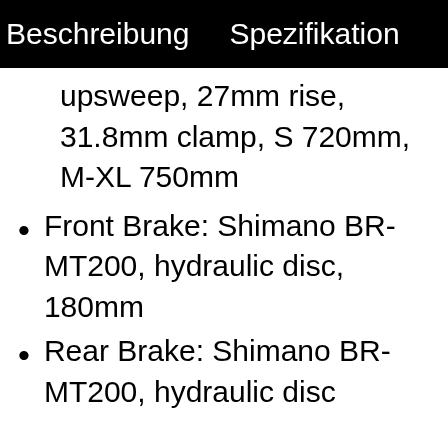Beschreibung    Spezifikation
upsweep, 27mm rise, 31.8mm clamp, S 720mm, M-XL 750mm
Front Brake: Shimano BR-MT200, hydraulic disc, 180mm
Rear Brake: Shimano BR-MT200, hydraulic disc